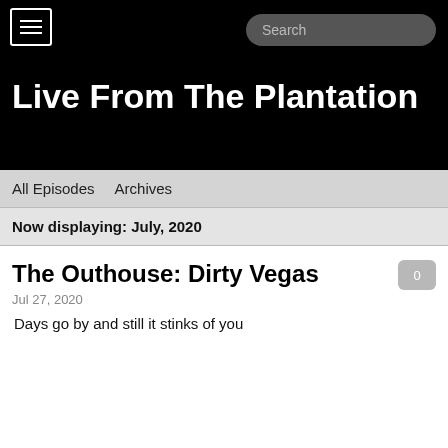Live From The Plantation
All Episodes   Archives
Now displaying: July, 2020
The Outhouse: Dirty Vegas
Jul 27, 2020
Days go by and still it stinks of you
Download this Episode